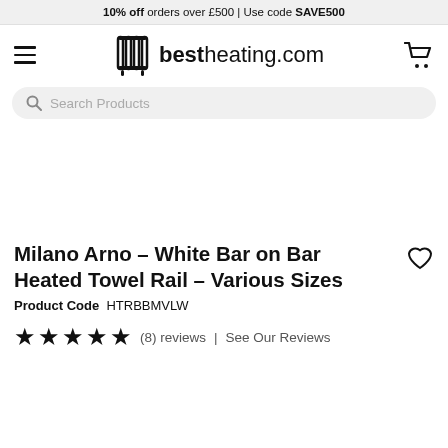10% off orders over £500 | Use code SAVE500
[Figure (logo): bestheating.com logo with radiator icon, hamburger menu, and cart icon]
Search Products
Milano Arno - White Bar on Bar Heated Towel Rail - Various Sizes
Product Code HTRBBMVLW
★★★★★ (8) reviews | See Our Reviews